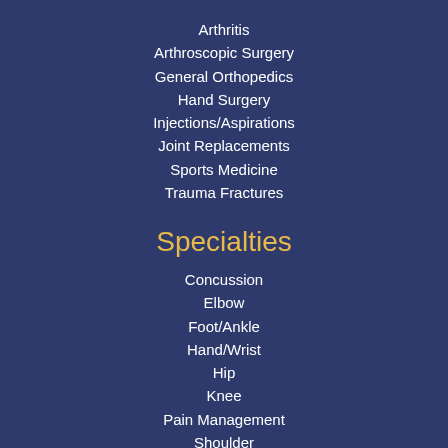Arthritis
Arthroscopic Surgery
General Orthopedics
Hand Surgery
Injections/Aspirations
Joint Replacements
Sports Medicine
Trauma Fractures
Specialties
Concussion
Elbow
Foot/Ankle
Hand/Wrist
Hip
Knee
Pain Management
Shoulder
Spine/Neck